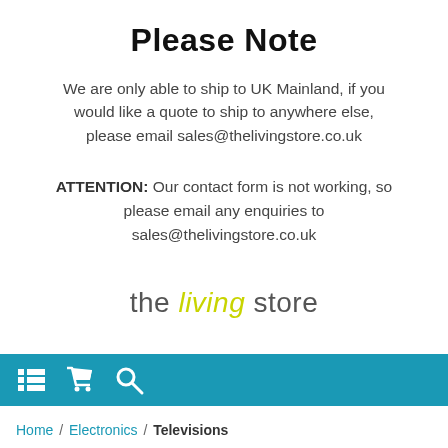Please Note
We are only able to ship to UK Mainland, if you would like a quote to ship to anywhere else, please email sales@thelivingstore.co.uk
ATTENTION: Our contact form is not working, so please email any enquiries to sales@thelivingstore.co.uk
[Figure (logo): The living store logo with 'living' in yellow-green italic text]
Home / Electronics / Televisions